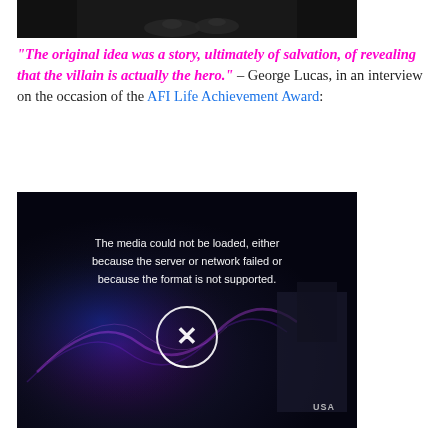[Figure (photo): Dark image cropped at top, showing hands in dim lighting against a black background]
“The original idea was a story, ultimately of salvation, of revealing that the villain is actually the hero.” – George Lucas, in an interview on the occasion of the AFI Life Achievement Award:
[Figure (screenshot): Video player showing error message: 'The media could not be loaded, either because the server or network failed or because the format is not supported.' with an X close button and USA logo watermark]